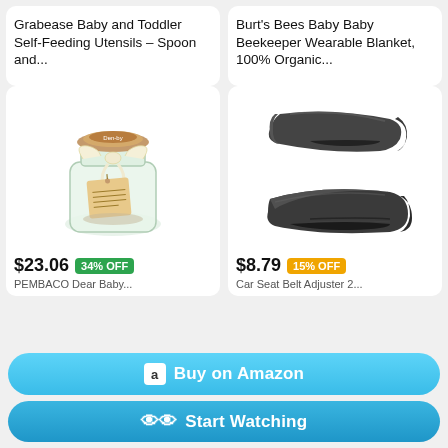Grabease Baby and Toddler Self-Feeding Utensils – Spoon and...
Burt's Bees Baby Baby Beekeeper Wearable Blanket, 100% Organic...
[Figure (photo): Glass jar with wooden lid, cream ribbon bow and a kraft paper tag with text, containing small items inside]
[Figure (photo): Two dark gray car seat belt adjuster clips shown from different angles]
$23.06  34% OFF
PEMBACO Dear Baby...
$8.79  15% OFF
Car Seat Belt Adjuster 2...
Buy on Amazon
Start Watching